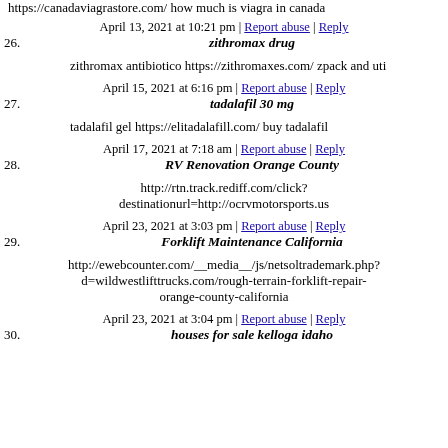https://canadaviagrastore.com/ how much is viagra in canada
26. zithromax drug — April 13, 2021 at 10:21 pm | Report abuse | Reply
zithromax antibiotico https://zithromaxes.com/ zpack and uti
27. tadalafil 30 mg — April 15, 2021 at 6:16 pm | Report abuse | Reply
tadalafil gel https://elitadalafill.com/ buy tadalafil
28. RV Renovation Orange County — April 17, 2021 at 7:18 am | Report abuse | Reply
http://rtn.track.rediff.com/click?destinationurl=http://ocrvmotorsports.us
29. Forklift Maintenance California — April 23, 2021 at 3:03 pm | Report abuse | Reply
http://ewebcounter.com/__media__/js/netsoltrademark.php?d=wildwestlifttrucks.com/rough-terrain-forklift-repair-orange-county-california
30. houses for sale kelloga idaho — April 23, 2021 at 3:04 pm | Report abuse | Reply